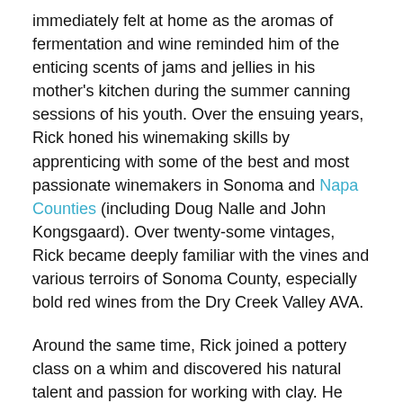immediately felt at home as the aromas of fermentation and wine reminded him of the enticing scents of jams and jellies in his mother's kitchen during the summer canning sessions of his youth. Over the ensuing years, Rick honed his winemaking skills by apprenticing with some of the best and most passionate winemakers in Sonoma and Napa Counties (including Doug Nalle and John Kongsgaard). Over twenty-some vintages, Rick became deeply familiar with the vines and various terroirs of Sonoma County, especially bold red wines from the Dry Creek Valley AVA.
Around the same time, Rick joined a pottery class on a whim and discovered his natural talent and passion for working with clay. He started crafting a series of amphorae, similar to the original clay jars used by the ancient Greeks and Romans to store wine. When the time came to make his own wine, Rick married his passions for wine and art with Amphora Winery. His hand-made amphorae became the icons for his fledgling winery, and continue to grace the wine labels today.